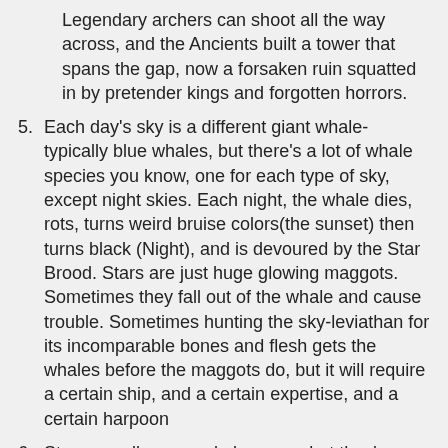Legendary archers can shoot all the way across, and the Ancients built a tower that spans the gap, now a forsaken ruin squatted in by pretender kings and forgotten horrors.
5. Each day's sky is a different giant whale- typically blue whales, but there's a lot of whale species you know, one for each type of sky, except night skies. Each night, the whale dies, rots, turns weird bruise colors(the sunset) then turns black (Night), and is devoured by the Star Brood. Stars are just huge glowing maggots. Sometimes they fall out of the whale and cause trouble. Sometimes hunting the sky-leviathan for its incomparable bones and flesh gets the whales before the maggots do, but it will require a certain ship, and a certain expertise, and a certain harpoon
6. Stars are all suns and also sons, but they're banished from the court of the Celestial Sun Emperor. Every year or so they try to stage a coup and earth becomes eternally day and way too hot (this is known as War Summer), so the Sun Guard have to assemble to slay or drive off the sun or sunS. Some disgruntled rebels even side with the would-be usurpers and the Sun